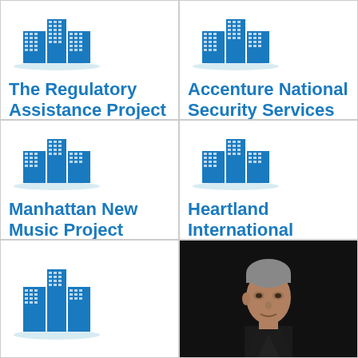[Figure (logo): Building/organization icon for The Regulatory Assistance Project]
The Regulatory Assistance Project
[Figure (logo): Building/organization icon for Accenture National Security Services]
Accenture National Security Services
[Figure (logo): Building/organization icon for Manhattan New Music Project]
Manhattan New Music Project
[Figure (logo): Building/organization icon for Heartland International]
Heartland International
[Figure (logo): Building/organization icon (bottom left)]
[Figure (photo): Black and white photo of a man in a suit, side profile, dark background]